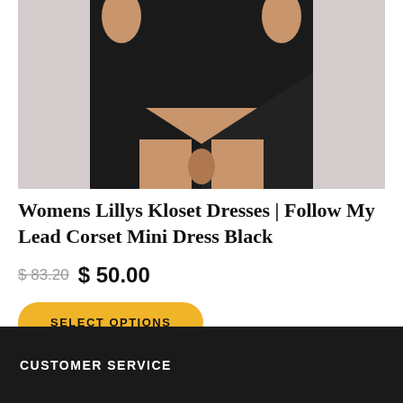[Figure (photo): Close-up photo of a woman wearing a black corset mini dress, cropped to show torso and legs against a light gray background.]
Womens Lillys Kloset Dresses | Follow My Lead Corset Mini Dress Black
$ 83.20 $ 50.00
SELECT OPTIONS
CUSTOMER SERVICE